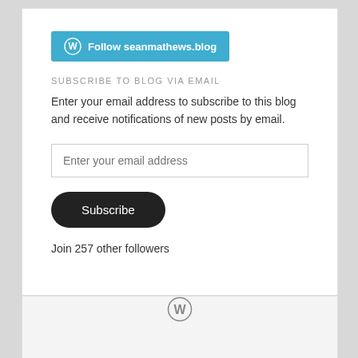[Figure (logo): WordPress Follow button: blue rounded rectangle with WordPress logo icon and text 'Follow seanmathews.blog' in white]
SUBSCRIBE TO BLOG VIA EMAIL
Enter your email address to subscribe to this blog and receive notifications of new posts by email.
[Figure (other): Email input field with placeholder text 'Enter your email address']
[Figure (other): Subscribe button — dark rounded pill button with white text 'Subscribe']
Join 257 other followers
[Figure (logo): WordPress logo icon in footer area]